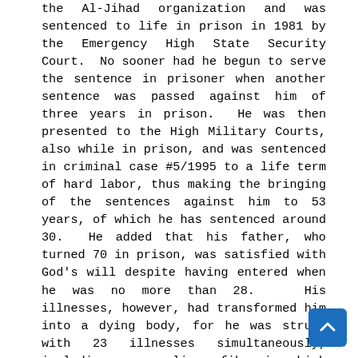the Al-Jihad organization and was sentenced to life in prison in 1981 by the Emergency High State Security Court. No sooner had he begun to serve the sentence in prisoner when another sentence was passed against him of three years in prison. He was then presented to the High Military Courts, also while in prison, and was sentenced in criminal case #5/1995 to a life term of hard labor, thus making the bringing of the sentences against him to 53 years, of which he has sentenced around 30. He added that his father, who turned 70 in prison, was satisfied with God's will despite having entered when he was no more than 28. His illnesses, however, had transformed him into a dying body, for he was struck with 23 illnesses simultaneously, including severe liver fibrosis, high blood pressure, enlarged kidneys and spleen, diabetes, cirrhosis of the heart muscle, extension in the front left ventricle of his heart, convulsions, loss of consciousness, and osteoporosis. This is in addition to a number of illnesses he suffers from as a result of being bedridden. Despite all of from 1994 to 2001 his family was been unable to meet